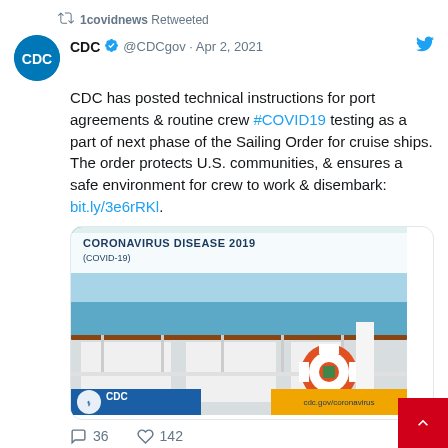1covidnews Retweeted
CDC @CDCgov · Apr 2, 2021
CDC has posted technical instructions for port agreements & routine crew #COVID19 testing as a part of next phase of the Sailing Order for cruise ships. The order protects U.S. communities, & ensures a safe environment for crew to work & disembark: bit.ly/3e6rRKl.
[Figure (screenshot): CDC Coronavirus Disease 2019 (COVID-19) image showing a cruise ship deck with a life preserver ring and ocean in the background. CDC logo and cdc.gov/coronavirus URL visible.]
36 comments · 142 likes
1covidnews Retweeted